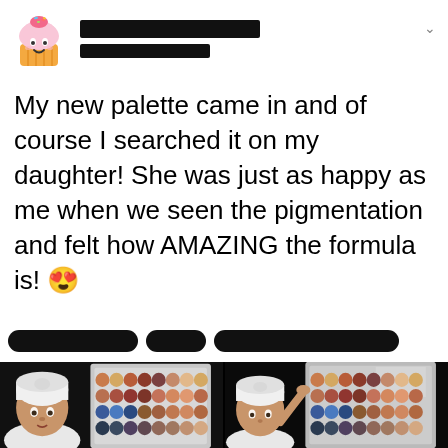[Figure (screenshot): Social media post screenshot showing a cupcake avatar, redacted username, tweet text about a makeup palette, redacted handle row, and two side-by-side photos of a baby with a makeup palette]
My new palette came in and of course I searched it on my daughter! She was just as happy as me when we seen the pigmentation and felt how AMAZING the formula is! 😍
[Figure (photo): Two photos side by side of a baby wearing a white turban headband holding/next to a large eyeshadow palette against a dark background]